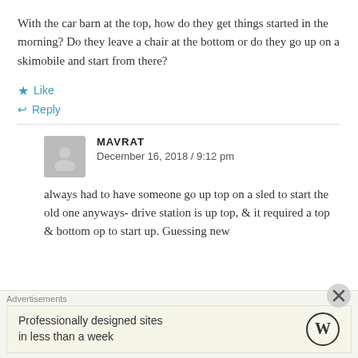With the car barn at the top, how do they get things started in the morning? Do they leave a chair at the bottom or do they go up on a skimobile and start from there?
★ Like
↩ Reply
MAVRAT
December 16, 2018 / 9:12 pm
always had to have someone go up top on a sled to start the old one anyways- drive station is up top, & it required a top & bottom op to start up. Guessing new
Advertisements
Professionally designed sites in less than a week